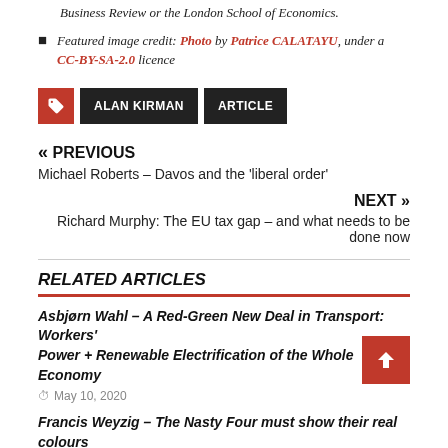Business Review or the London School of Economics.
Featured image credit: Photo by Patrice CALATAYU, under a CC-BY-SA-2.0 licence
ALAN KIRMAN   ARTICLE
« PREVIOUS
Michael Roberts – Davos and the 'liberal order'
NEXT »
Richard Murphy: The EU tax gap – and what needs to be done now
RELATED ARTICLES
Asbjørn Wahl – A Red-Green New Deal in Transport: Workers' Power + Renewable Electrification of the Whole Economy
May 10, 2020
Francis Weyzig – The Nasty Four must show their real colours